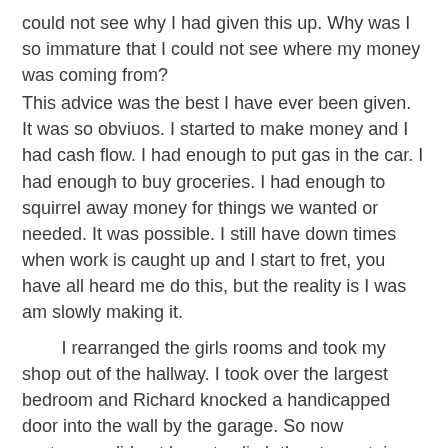could not see why I had given this up.  Why was I so immature that I could not see where my money was coming from?
This advice was the best I have ever been given.  It was so obviuos.  I started to make money and I had cash flow.  I had enough to put gas in the car.  I had enough to buy groceries.  I had enough to squirrel away money for things we wanted or needed.  It was possible.  I still have down times when work is caught up and I start to fret, you have all heard me do this, but the reality is I was am slowly making it.
I rearranged the girls rooms and took my shop out of the hallway.  I took over the largest bedroom and Richard knocked a handicapped door into the wall by the garage.  So now customers did not have to climb the steep stairs into the house but could pull right up or into the garage and go right into the shop. I started to pay attention to advertizing.  I just learned to sew during the day and teach dance a few nights a week and also clean a building.  It was still a tough schedule.  I did not have to deal with a cranky, selfish, spoiled, student.  Life was getting better.